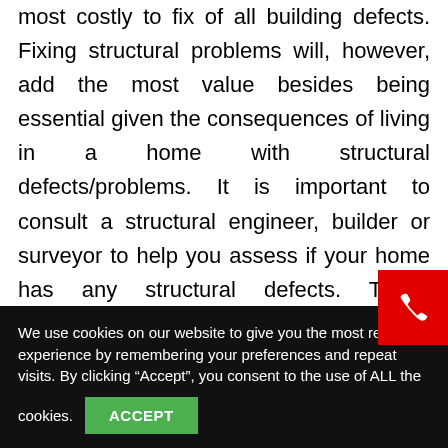most costly to fix of all building defects. Fixing structural problems will, however, add the most value besides being essential given the consequences of living in a home with structural defects/problems. It is important to consult a structural engineer, builder or surveyor to help you assess if your home has any structural defects. These professionals can also help you differentiate between cosmetic faults and structural defects if you are having problems distinguishing the two. Also, the importance of
[Figure (other): Red phone call button with white phone handset icon in bottom-right area of the page]
We use cookies on our website to give you the most relevant experience by remembering your preferences and repeat visits. By clicking “Accept”, you consent to the use of ALL the cookies.